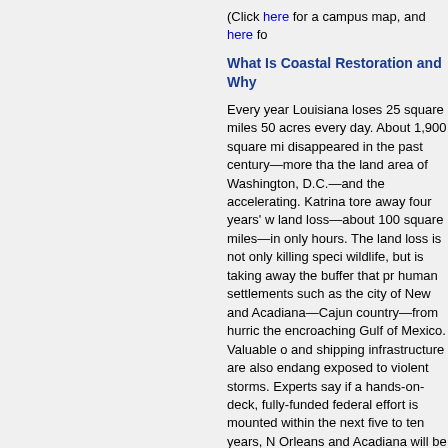(Click here for a campus map, and here fo...
What Is Coastal Restoration and Why...
Every year Louisiana loses 25 square miles... 50 acres every day. About 1,900 square miles disappeared in the past century—more than the land area of Washington, D.C.—and the rate is accelerating. Katrina tore away four years' worth of land loss—about 100 square miles—in only a few hours. The land loss is not only killing species of wildlife, but is taking away the buffer that protects human settlements such as the city of New Orleans and Acadiana—Cajun country—from hurricanes and the encroaching Gulf of Mexico. Valuable oil and shipping infrastructure are also endangered and exposed to violent storms. Experts say if a massive hands-on-deck, fully-funded federal effort is not mounted within the next five to ten years, New Orleans and Acadiana will be lost.
Wetlands protect human settlements from hurricanes. 25 feet. Every 2.5 to 4 miles of wetlands reduces... measured another way, each mile of marsh... New Orleans, home to about 1.5 million, is ... miles of wetlands.